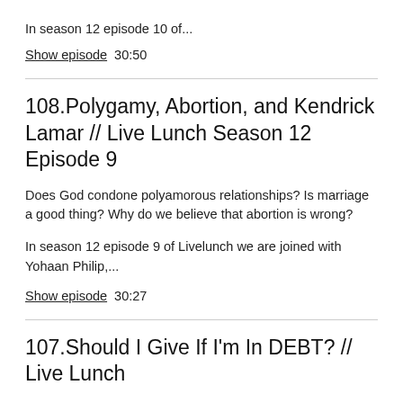In season 12 episode 10 of...
Show episode   30:50
108.Polygamy, Abortion, and Kendrick Lamar // Live Lunch Season 12 Episode 9
Does God condone polyamorous relationships? Is marriage a good thing? Why do we believe that abortion is wrong?
In season 12 episode 9 of Livelunch we are joined with Yohaan Philip,...
Show episode   30:27
107.Should I Give If I'm In DEBT? // Live Lunch